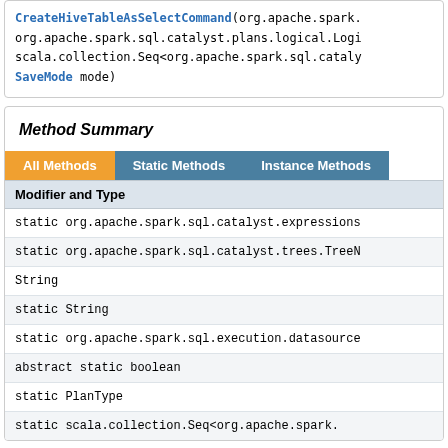CreateHiveTableAsSelectCommand(org.apache.spark. org.apache.spark.sql.catalyst.plans.logical.Logi scala.collection.Seq<org.apache.spark.sql.cataly SaveMode mode)
Method Summary
| Modifier and Type |
| --- |
| static org.apache.spark.sql.catalyst.expressions |
| static org.apache.spark.sql.catalyst.trees.TreeN |
| String |
| static String |
| static org.apache.spark.sql.execution.datasource |
| abstract static boolean |
| static PlanType |
| static scala.collection.Seq<org.apache.spark. |